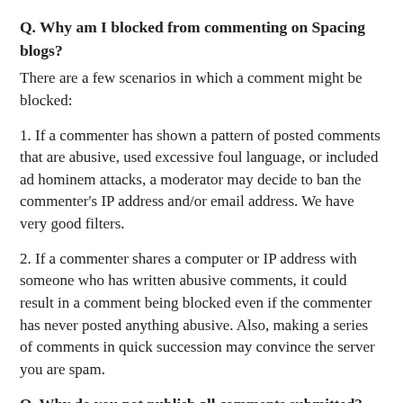Q. Why am I blocked from commenting on Spacing blogs?
There are a few scenarios in which a comment might be blocked:
1. If a commenter has shown a pattern of posted comments that are abusive, used excessive foul language, or included ad hominem attacks, a moderator may decide to ban the commenter's IP address and/or email address. We have very good filters.
2. If a commenter shares a computer or IP address with someone who has written abusive comments, it could result in a comment being blocked even if the commenter has never posted anything abusive. Also, making a series of comments in quick succession may convince the server you are spam.
Q. Why do you not publish all comments submitted?
Generally, Spacing approves almost all comments